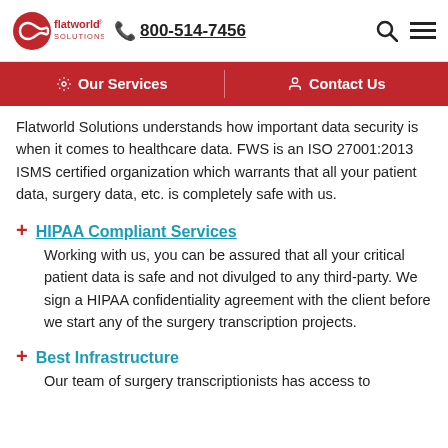flatworld solutions | 800-514-7456
Our Services | Contact Us
Flatworld Solutions understands how important data security is when it comes to healthcare data. FWS is an ISO 27001:2013 ISMS certified organization which warrants that all your patient data, surgery data, etc. is completely safe with us.
HIPAA Compliant Services
Working with us, you can be assured that all your critical patient data is safe and not divulged to any third-party. We sign a HIPAA confidentiality agreement with the client before we start any of the surgery transcription projects.
Best Infrastructure
Our team of surgery transcriptionists has access to